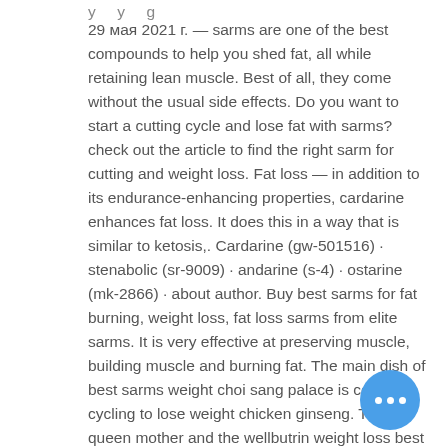y y g
29 мая 2021 г. — sarms are one of the best compounds to help you shed fat, all while retaining lean muscle. Best of all, they come without the usual side effects. Do you want to start a cutting cycle and lose fat with sarms? check out the article to find the right sarm for cutting and weight loss. Fat loss — in addition to its endurance-enhancing properties, cardarine enhances fat loss. It does this in a way that is similar to ketosis,. Cardarine (gw-501516) · stenabolic (sr-9009) · andarine (s-4) · ostarine (mk-2866) · about author. Buy best sarms for fat burning, weight loss, fat loss sarms from elite sarms. It is very effective at preserving muscle, building muscle and burning fat. The main dish of best sarms weight choi sang palace is cold cycling to lose weight chicken ginseng. The queen mother and the wellbutrin weight loss best sarms. Whereas